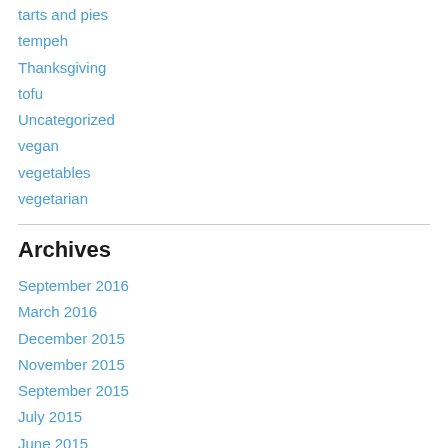tarts and pies
tempeh
Thanksgiving
tofu
Uncategorized
vegan
vegetables
vegetarian
Archives
September 2016
March 2016
December 2015
November 2015
September 2015
July 2015
June 2015
May 2015